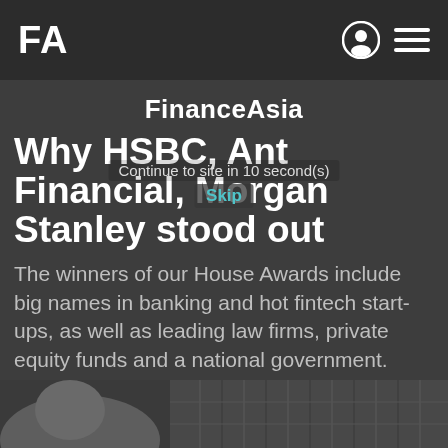FA
FinanceAsia
Why HSBC, Ant Financial, Morgan Stanley stood out
Continue to site in 10 second(s) Skip
The winners of our House Awards include big names in banking and hot fintech start-ups, as well as leading law firms, private equity funds and a national government.
[Figure (photo): Blurred background photo showing a person and building/glass structure]